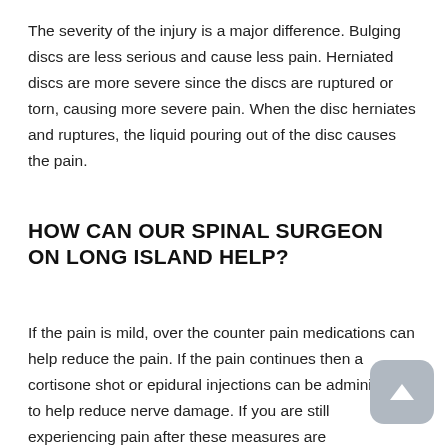The severity of the injury is a major difference. Bulging discs are less serious and cause less pain. Herniated discs are more severe since the discs are ruptured or torn, causing more severe pain. When the disc herniates and ruptures, the liquid pouring out of the disc causes the pain.
HOW CAN OUR SPINAL SURGEON ON LONG ISLAND HELP?
If the pain is mild, over the counter pain medications can help reduce the pain. If the pain continues then a cortisone shot or epidural injections can be administered to help reduce nerve damage. If you are still experiencing pain after these measures are